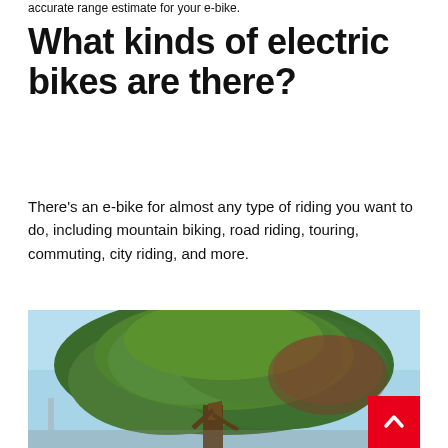accurate range estimate for your e-bike.
What kinds of electric bikes are there?
There's an e-bike for almost any type of riding you want to do, including mountain biking, road riding, touring, commuting, city riding, and more.
[Figure (photo): A large leafy green tree with light blue sky in the background, outdoors in an urban park setting.]